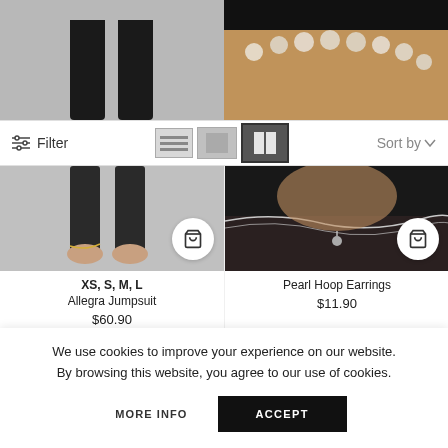[Figure (photo): Top left: legs in black pants/leggings on grey background]
[Figure (photo): Top right: close-up of pearl necklace on person's neck/shoulder]
Filter
Sort by
[Figure (photo): Left product: lower body shot of Allegra Jumpsuit on grey background with shop cart button]
XS, S, M, L
Allegra Jumpsuit
$60.90
[Figure (photo): Right product: Pearl Hoop Earrings close-up on dark background with shop cart button]
Pearl Hoop Earrings
$11.90
[Figure (photo): Bottom left: fashion model photo on grey background with heart/wishlist icon]
[Figure (photo): Bottom right: fashion model photo on grey background with heart/wishlist icon]
We use cookies to improve your experience on our website. By browsing this website, you agree to our use of cookies.
MORE INFO
ACCEPT